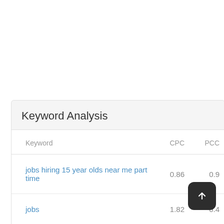Keyword Analysis
| Keyword | CPC | PCC |
| --- | --- | --- |
| jobs hiring 15 year olds near me part time | 0.86 | 0.9 |
| jobs | 1.82 | 0.4 |
| hiring | 0.84 |  |